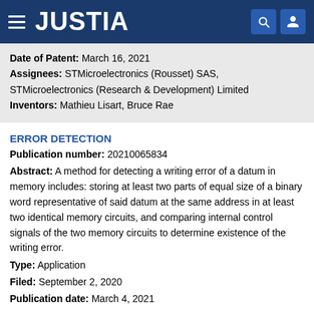JUSTIA
Date of Patent: March 16, 2021
Assignees: STMicroelectronics (Rousset) SAS, STMicroelectronics (Research & Development) Limited
Inventors: Mathieu Lisart, Bruce Rae
ERROR DETECTION
Publication number: 20210065834
Abstract: A method for detecting a writing error of a datum in memory includes: storing at least two parts of equal size of a binary word representative of said datum at the same address in at least two identical memory circuits, and comparing internal control signals of the two memory circuits to determine existence of the writing error.
Type: Application
Filed: September 2, 2020
Publication date: March 4, 2021